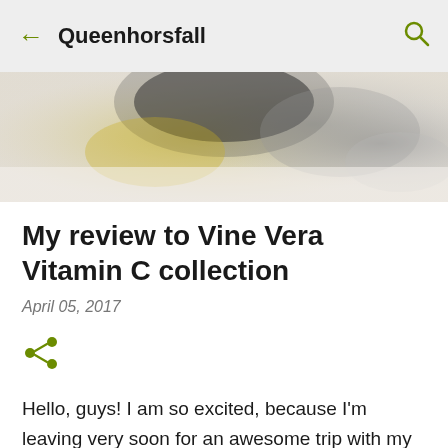← Queenhorsfall 🔍
[Figure (photo): Blurred overhead photo of beauty/skincare products with soft yellow and grey tones]
My review to Vine Vera Vitamin C collection
April 05, 2017
[Figure (other): Share icon (green)]
Hello, guys! I am so excited, because I'm leaving very soon for an awesome trip with my blogger babies to Phoenix. I have been looking forward to this adventure since February. You know how much I love to travel and talk about my